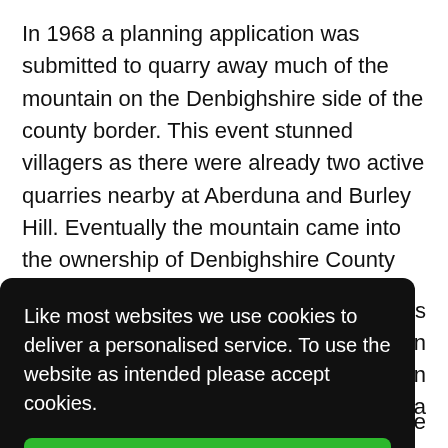In 1968 a planning application was submitted to quarry away much of the mountain on the Denbighshire side of the county border. This event stunned villagers as there were already two active quarries nearby at Aberduna and Burley Hill. Eventually the mountain came into the ownership of Denbighshire County Council in 1999. The mountain was then designated as a …rks …n …tion …by a …ife habitat. The Nature Reserve covers an area of
Like most websites we use cookies to deliver a personalised service. To use the website as intended please accept cookies.
Accept Cookies